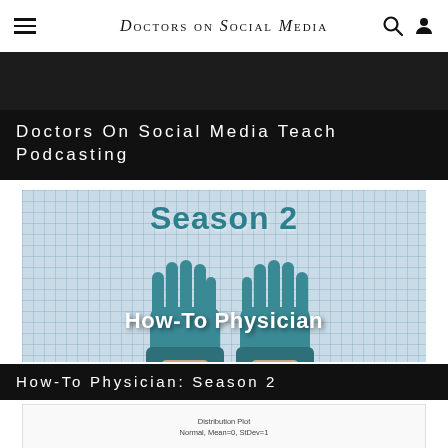DOCTORS ON SOCIAL MEDIA
[Figure (photo): Dark/black image strip — top portion of a partially visible article image]
Doctors On Social Media Teach Podcasting
[Figure (illustration): Season 2 How-To Physician promotional image: blue grid background with two hands in teal medical gloves raised, overlaid with text 'Season 2' in teal and 'How-To Physician' in white bold]
How-To Physician: Season 2
[Figure (continuous-plot): Partial view of a Distribution Plot, Normal, Mean=0, StDev=1 at bottom of page]